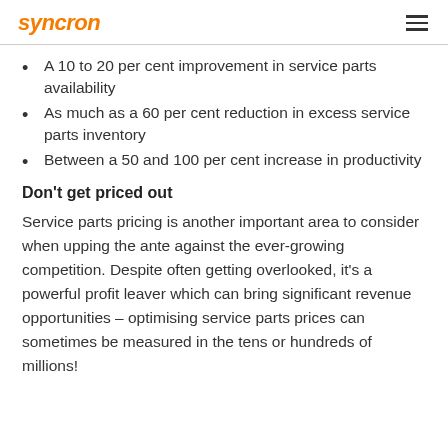syncron
A 10 to 20 per cent improvement in service parts availability
As much as a 60 per cent reduction in excess service parts inventory
Between a 50 and 100 per cent increase in productivity
Don’t get priced out
Service parts pricing is another important area to consider when upping the ante against the ever-growing competition. Despite often getting overlooked, it’s a powerful profit leaver which can bring significant revenue opportunities – optimising service parts prices can sometimes be measured in the tens or hundreds of millions!